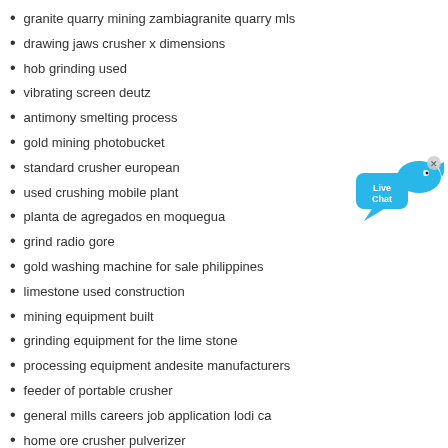granite quarry mining zambiagranite quarry mls
drawing jaws crusher x dimensions
hob grinding used
vibrating screen deutz
antimony smelting process
gold mining photobucket
standard crusher european
used crushing mobile plant
planta de agregados en moquegua
grind radio gore
gold washing machine for sale philippines
limestone used construction
mining equipment built
grinding equipment for the lime stone
processing equipment andesite manufacturers
feeder of portable crusher
general mills careers job application lodi ca
home ore crusher pulverizer
crushers size
mill to nibble grass
raymond mill hammer
equipmentforgoldminingoperation
[Figure (illustration): Live Chat button — a blue speech bubble with 'Live Chat' text and a blue bird/fish icon with an 'x' close button]